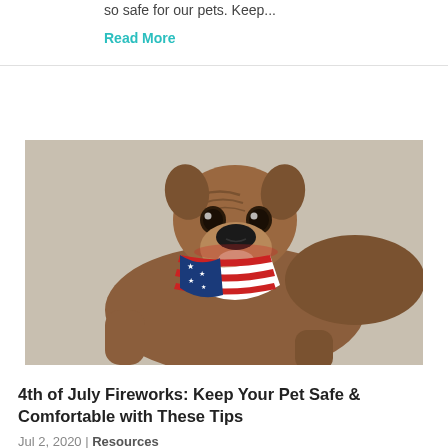so safe for our pets. Keep...
Read More
[Figure (photo): A boxer dog wearing an American flag bandana, lying down and looking at the camera.]
4th of July Fireworks: Keep Your Pet Safe & Comfortable with These Tips
Jul 2, 2020 | Resources
On and around the Fourth of July, the